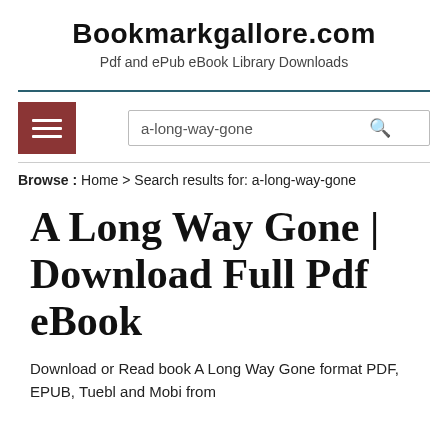Bookmarkgallore.com
Pdf and ePub eBook Library Downloads
a-long-way-gone
Browse : Home > Search results for: a-long-way-gone
A Long Way Gone | Download Full Pdf eBook
Download or Read book A Long Way Gone format PDF, EPUB, Tuebl and Mobi from